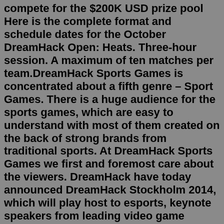compete for the $200K USD prize pool Here is the complete format and schedule dates for the October DreamHack Open: Heats. Three-hour session. A maximum of ten matches per team.DreamHack Sports Games is concentrated about a fifth genre – Sport Games. There is a huge audience for the sports games, which are easy to understand with most of them created on the back of strong brands from traditional sports. At DreamHack Sports Games we first and foremost care about the viewers. DreamHack have today announced DreamHack Stockholm 2014, which will play host to esports, keynote speakers from leading video game developers, a tech expo as well as the second-ever Global esports ...Dreame App Free coins how to get hack Dreame coins Amount Android/IOS 2022Dreame - Great Story Starts HereHey story lovers! Come and check this out!We are D... DreamHack. 377,949 likes · 265 talking about this. Where the gaming community comes to life. Buy tickets at dreamhack.com Dreame Hack is my project